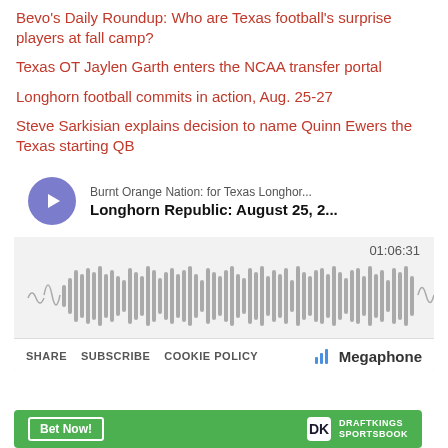Bevo's Daily Roundup: Who are Texas football's surprise players at fall camp?
Texas OT Jaylen Garth enters the NCAA transfer portal
Longhorn football commits in action, Aug. 25-27
Steve Sarkisian explains decision to name Quinn Ewers the Texas starting QB
[Figure (screenshot): Podcast player widget for 'Burnt Orange Nation: for Texas Longhor...' showing episode 'Longhorn Republic: August 25, 2...' with play button, waveform visualization, duration 01:06:31, and Megaphone branding. Footer shows SHARE, SUBSCRIBE, COOKIE POLICY links.]
[Figure (other): DraftKings Sportsbook advertisement banner with green background, 'Bet Now!' button, and DraftKings Sportsbook logo]